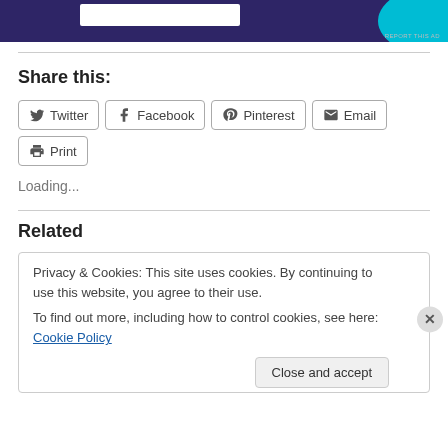[Figure (other): Advertisement banner with dark purple background and cyan curved shape on the right]
REPORT THIS AD
Share this:
Twitter  Facebook  Pinterest  Email  Print
Loading...
Related
Privacy & Cookies: This site uses cookies. By continuing to use this website, you agree to their use.
To find out more, including how to control cookies, see here: Cookie Policy
Close and accept